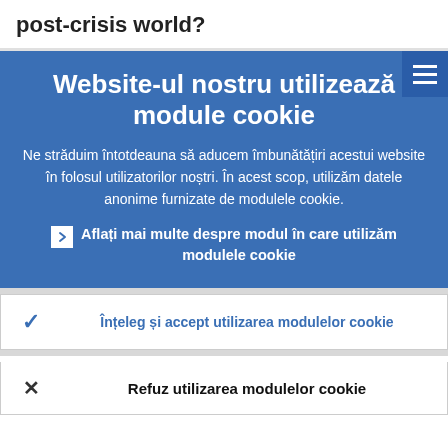post-crisis world?
Website-ul nostru utilizează module cookie
Ne străduim întotdeauna să aducem îmbunătățiri acestui website în folosul utilizatorilor noștri. În acest scop, utilizăm datele anonime furnizate de modulele cookie.
Aflați mai multe despre modul în care utilizăm modulele cookie
Înțeleg și accept utilizarea modulelor cookie
Refuz utilizarea modulelor cookie